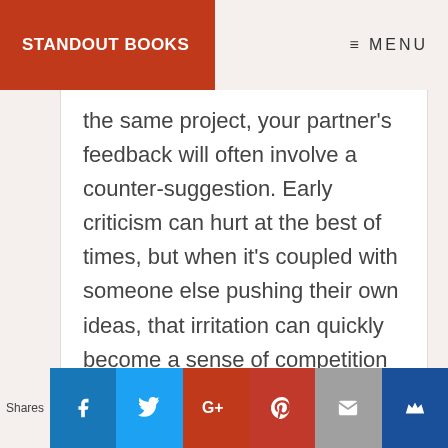STANDOUT BOOKS | MENU
the same project, your partner's feedback will often involve a counter-suggestion. Early criticism can hurt at the best of times, but when it's coupled with someone else pushing their own ideas, that irritation can quickly become a sense of competition that will
Shares | Facebook | Twitter | G+ | Pinterest | Email | Crown